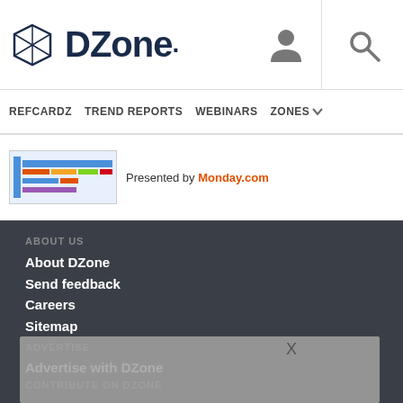DZone. [logo + user icon + search icon]
REFCARDZ  TREND REPORTS  WEBINARS  ZONES
[Figure (screenshot): Small thumbnail of a colorful spreadsheet/report image followed by text 'Presented by Monday.com']
ABOUT US
About DZone
Send feedback
Careers
Sitemap
ADVERTISE
Advertise with DZone
CONTRIBUTE ON DZONE
Article Submission Guidelines